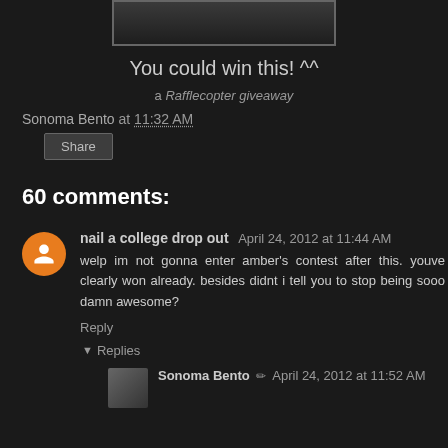[Figure (photo): Partial image at top, dark border, showing bottom edge of an image]
You could win this! ^^
a Rafflecopter giveaway
Sonoma Bento at 11:32 AM
Share
60 comments:
nail a college drop out  April 24, 2012 at 11:44 AM
welp im not gonna enter amber's contest after this. youve clearly won already. besides didnt i tell you to stop being sooo damn awesome?
Reply
▼ Replies
Sonoma Bento ✏ April 24, 2012 at 11:52 AM